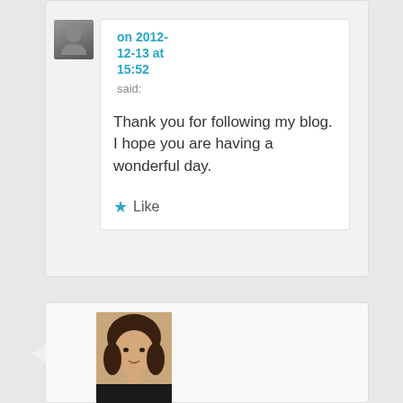on 2012-12-13 at 15:52 said:
Thank you for following my blog. I hope you are having a wonderful day.
Like
[Figure (photo): Avatar/profile photo of a young woman with brown hair]